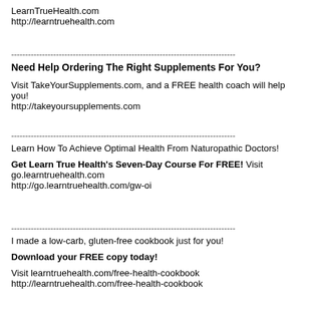LearnTrueHealth.com
http://learntruehealth.com
--------------------------------------------------------------------------------
Need Help Ordering The Right Supplements For You?

Visit TakeYourSupplements.com, and a FREE health coach will help you!
http://takeyoursupplements.com
--------------------------------------------------------------------------------
Learn How To Achieve Optimal Health From Naturopathic Doctors!

Get Learn True Health's Seven-Day Course For FREE! Visit
go.learntruehealth.com
http://go.learntruehealth.com/gw-oi
--------------------------------------------------------------------------------
I made a low-carb, gluten-free cookbook just for you!

Download your FREE copy today!

Visit learntruehealth.com/free-health-cookbook
http://learntruehealth.com/free-health-cookbook